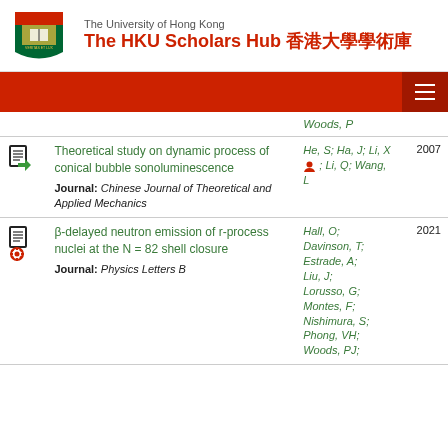The University of Hong Kong — The HKU Scholars Hub 香港大學學術庫
Woods, P
Theoretical study on dynamic process of conical bubble sonoluminescence | Journal: Chinese Journal of Theoretical and Applied Mechanics | Authors: He, S; Ha, J; Li, X; Li, Q; Wang, L | Year: 2007
β-delayed neutron emission of r-process nuclei at the N=82 shell closure | Journal: Physics Letters B | Authors: Hall, O; Davinson, T; Estrade, A; Liu, J; Lorusso, G; Montes, F; Nishimura, S; Phong, VH; Woods, PJ; | Year: 2021